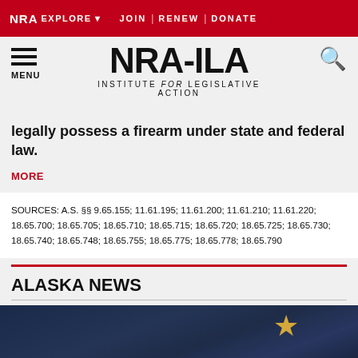NRA EXPLORE ▼  JOIN | RENEW | DONATE
[Figure (logo): NRA-ILA logo with hamburger menu and search icon]
legally possess a firearm under state and federal law.
MORE
SOURCES: A.S. §§ 9.65.155; 11.61.195; 11.61.200; 11.61.210; 11.61.220; 18.65.700; 18.65.705; 18.65.710; 18.65.715; 18.65.720; 18.65.725; 18.65.730; 18.65.740; 18.65.748; 18.65.755; 18.65.775; 18.65.778; 18.65.790
ALASKA NEWS
[Figure (photo): Alaska state flag — dark blue background with a gold star]